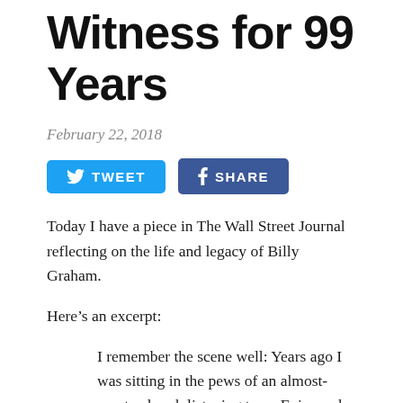Witness for 99 Years
February 22, 2018
[Figure (infographic): Social sharing buttons: TWEET (Twitter, blue) and SHARE (Facebook, dark blue)]
Today I have a piece in The Wall Street Journal reflecting on the life and legacy of Billy Graham.
Here’s an excerpt:
I remember the scene well: Years ago I was sitting in the pews of an almost-empty church listening to an Episcopal bishop discuss why Billy Graham was irrelevant. The prelate